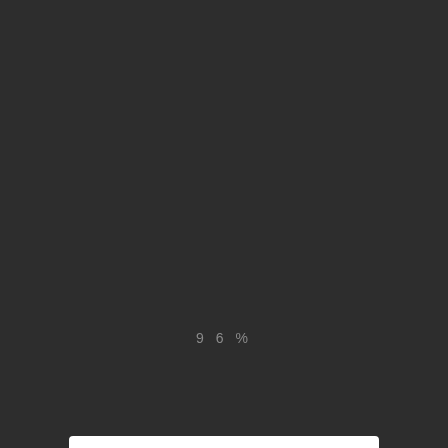[Figure (logo): Church One Eighty logo: a dark chevron/arrow icon in dark gray and orange on a white rounded rectangle background, with text 'church' in dark gray and 'oneeighty' in orange.]
9 6 %